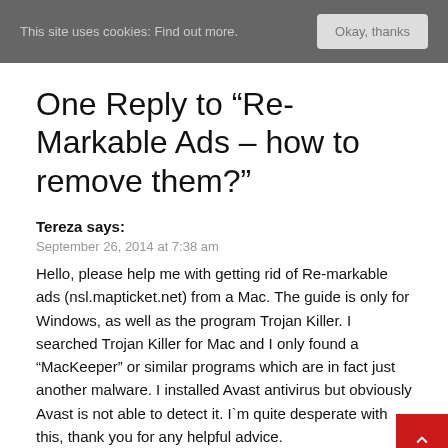This site uses cookies: Find out more.   Okay, thanks
One Reply to “Re-Markable Ads – how to remove them?”
Tereza says:
September 26, 2014 at 7:38 am
Hello, please help me with getting rid of Re-markable ads (nsl.mapticket.net) from a Mac. The guide is only for Windows, as well as the program Trojan Killer. I searched Trojan Killer for Mac and I only found a “MacKeeper” or similar programs which are in fact just another malware. I installed Avast antivirus but obviously Avast is not able to detect it. I`m quite desperate with this, thank you for any helpful advice.
Comments are closed.